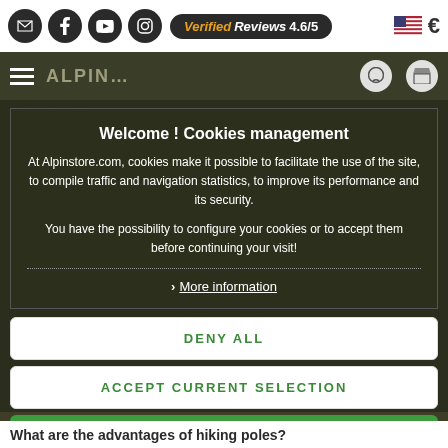Verified Reviews 4.6/5  €
Welcome ! Cookies management
At Alpinstore.com, cookies make it possible to facilitate the use of the site, to compile traffic and navigation statistics, to improve its performance and its security.
You have the possibility to configure your cookies or to accept them before continuing your visit!
More information
DENY ALL
ACCEPT CURRENT SELECTION
ACCEPT ALL
What are the advantages of hiking poles?